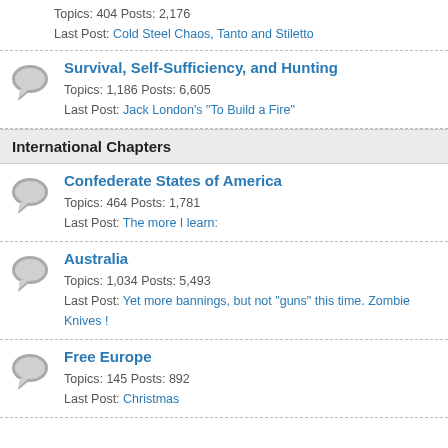Bows and Blades — Topics: 404 Posts: 2,176 Last Post: Cold Steel Chaos, Tanto and Stiletto
Survival, Self-Sufficiency, and Hunting — Topics: 1,186 Posts: 6,605 Last Post: Jack London's "To Build a Fire"
International Chapters
Confederate States of America — Topics: 464 Posts: 1,781 Last Post: The more I learn:
Australia — Topics: 1,034 Posts: 5,493 Last Post: Yet more bannings, but not "guns" this time. Zombie Knives !
Free Europe — Topics: 145 Posts: 892 Last Post: Christmas